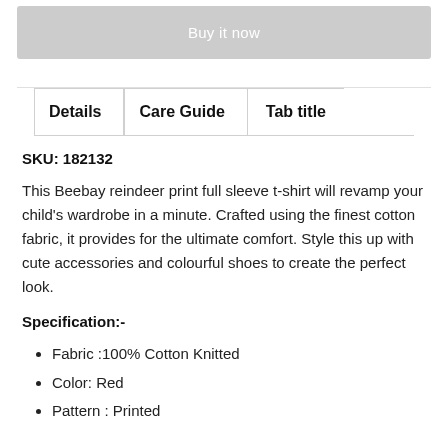Buy it now
Details | Care Guide | Tab title
SKU: 182132
This Beebay reindeer print full sleeve t-shirt will revamp your child's wardrobe in a minute. Crafted using the finest cotton fabric, it provides for the ultimate comfort. Style this up with cute accessories and colourful shoes to create the perfect look.
Specification:-
Fabric :100% Cotton Knitted
Color: Red
Pattern : Printed